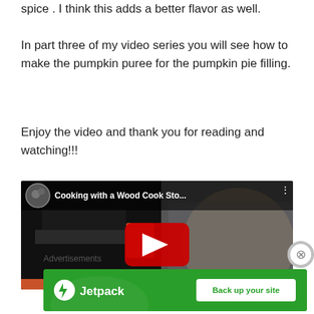spice . I think this adds a better flavor as well.
In part three of my video series you will see how to make the pumpkin puree for the pumpkin pie filling.
Enjoy the video and thank you for reading and watching!!!
[Figure (screenshot): YouTube video embed showing 'Cooking with a Wood Cook Sto...' with a play button overlay, channel avatar showing a couple, and a dark kitchen scene with a woman]
Advertisements
[Figure (screenshot): Jetpack advertisement banner with green background showing Jetpack logo and 'Back up your site' button]